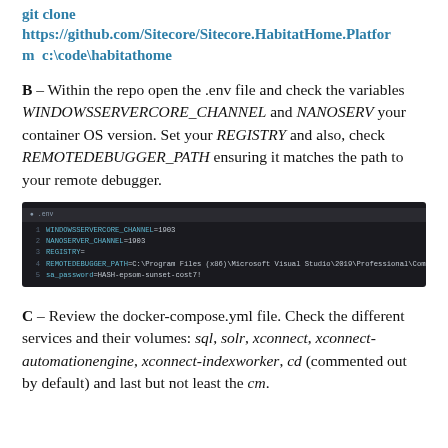git clone https://github.com/Sitecore/Sitecore.HabitatHome.Platform c:\code\habitathome
B – Within the repo open the .env file and check the variables WINDOWSSERVERCORE_CHANNEL and NANOSERVER_CHANNEL to match your container OS version. Set your REGISTRY and also, check REMOTEDEBUGGER_PATH ensuring it matches the path to your remote debugger.
[Figure (screenshot): Terminal/code editor screenshot showing .env file contents with lines: 1 WINDOWSSERVERCORE_CHANNEL=1903, 2 NANOSERVER_CHANNEL=1903, 3 REGISTRY=, 4 REMOTEDEBUGGER_PATH=C:\Program Files (x86)\Microsoft Visual Studio\2019\Professional\Common7\IDE\Remote Debugger, 5 sa_password=HASH-epsom-sunset-cost7!]
C – Review the docker-compose.yml file. Check the different services and their volumes: sql, solr, xconnect, xconnect-automationengine, xconnect-indexworker, cd (commented out by default) and last but not least the cm.